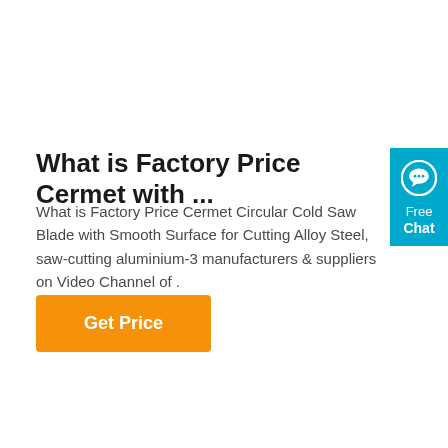What is Factory Price Cermet with ...
What is Factory Price Cermet Circular Cold Saw Blade with Smooth Surface for Cutting Alloy Steel, saw-cutting aluminium-3 manufacturers & suppliers on Video Channel of .
[Figure (other): Orange 'Get Price' button]
[Figure (other): Blue 'Free Chat' widget with speech bubble icon on the right edge]